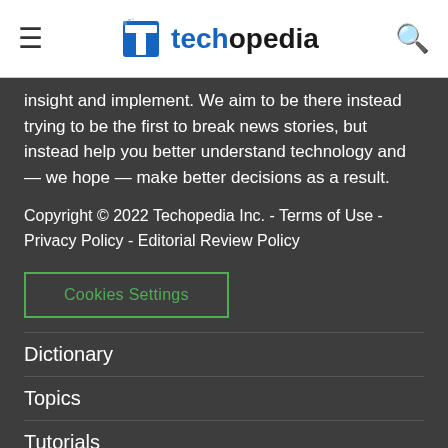techopedia
insight and implement. We aim to be there instead trying to be the first to break news stories, but instead help you better understand technology and — we hope — make better decisions as a result.
Copyright © 2022 Techopedia Inc. - Terms of Use - Privacy Policy - Editorial Review Policy
Cookies Settings
Dictionary
Topics
Tutorials
Webinars